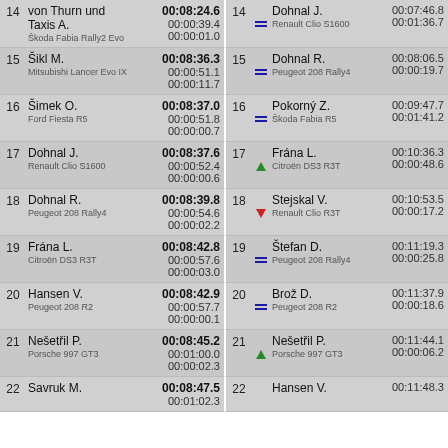| Pos | Driver/Car | Time/Gap/Interval | Pos | Icon | Driver/Car | Time | Gap |
| --- | --- | --- | --- | --- | --- | --- | --- |
| 14 | von Thurn und Taxis A. / Škoda Fabia Rally2 Evo | 00:08:24.6 / 00:00:39.4 / 00:00:01.0 | 14 | = | Dohnal J. / Renault Clio S1600 | 00:07:46.8 | 00:01:36.7 |
| 15 | Šikl M. / Mitsubishi Lancer Evo IX | 00:08:36.3 / 00:00:51.1 / 00:00:11.7 | 15 | = | Dohnal R. / Peugeot 208 Rally4 | 00:08:06.5 | 00:00:19.7 |
| 16 | Šimek O. / Ford Fiesta R5 | 00:08:37.0 / 00:00:51.8 / 00:00:00.7 | 16 | = | Pokorný Z. / Škoda Fabia R5 | 00:09:47.7 | 00:01:41.2 |
| 17 | Dohnal J. / Renault Clio S1600 | 00:08:37.6 / 00:00:52.4 / 00:00:00.6 | 17 | up | Frána L. / Citroën DS3 R3T | 00:10:36.3 | 00:00:48.6 |
| 18 | Dohnal R. / Peugeot 208 Rally4 | 00:08:39.8 / 00:00:54.6 / 00:00:02.2 | 18 | down | Stejskal V. / Renault Clio R3T | 00:10:53.5 | 00:00:17.2 |
| 19 | Frána L. / Citroën DS3 R3T | 00:08:42.8 / 00:00:57.6 / 00:00:03.0 | 19 | = | Štefan D. / Peugeot 208 Rally4 | 00:11:19.3 | 00:00:25.8 |
| 20 | Hansen V. / Peugeot 208 R2 | 00:08:42.9 / 00:00:57.7 / 00:00:00.1 | 20 | = | Brož D. / Peugeot 208 R2 | 00:11:37.9 | 00:00:18.6 |
| 21 | Nešetřil P. / Porsche 997 GT3 | 00:08:45.2 / 00:01:00.0 / 00:00:02.3 | 21 | up | Nešetřil P. / Porsche 997 GT3 | 00:11:44.1 | 00:00:06.2 |
| 22 | Savruk M. | 00:08:47.5 / 00:01:02.3 | 22 |  | Hansen V. | 00:11:48.3 |  |